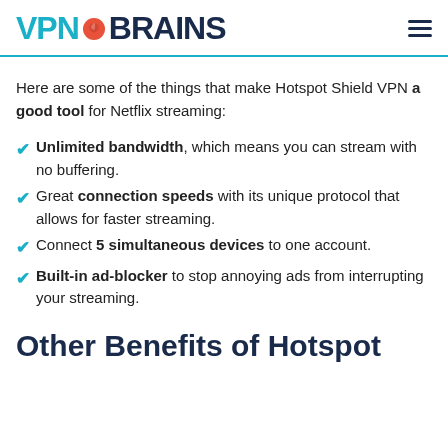VPN BRAINS
Here are some of the things that make Hotspot Shield VPN a good tool for Netflix streaming:
Unlimited bandwidth, which means you can stream with no buffering.
Great connection speeds with its unique protocol that allows for faster streaming.
Connect 5 simultaneous devices to one account.
Built-in ad-blocker to stop annoying ads from interrupting your streaming.
Other Benefits of Hotspot